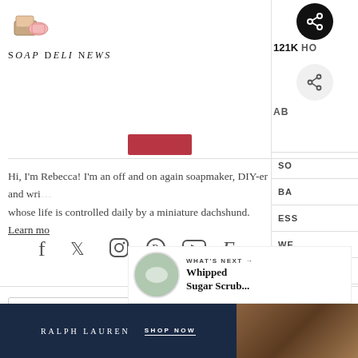[Figure (logo): Soap Deli News logo with illustrated soap bars icon and stylized text]
Hi, I'm Rebecca! I'm an off and on again soapmaker, DIY-er and writer whose life is controlled daily by a miniature dachshund. Learn more
[Figure (infographic): Social media icons row: Facebook, Twitter, Instagram, Pinterest, YouTube, Etsy]
[Figure (screenshot): Search bar with placeholder text 'Search ...' and pink SEARCH button]
[Figure (infographic): What's Next callout with thumbnail and text: Whipped Sugar Scrub...]
[Figure (photo): Ralph Lauren advertisement with dark navy background, brand name, SHOP NOW text, and leather bag photo]
121K
HO
AB
SO
BA
ESS
WE
HO
LIF
FO